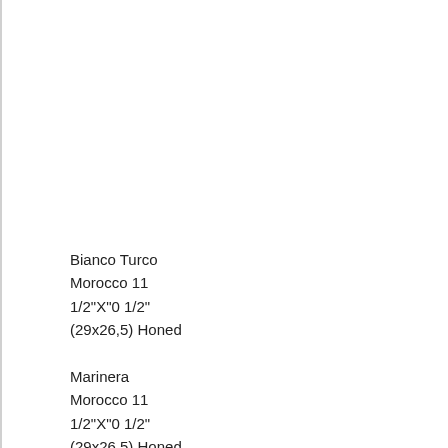Bianco Turco
Morocco 11
1/2"X"0 1/2"
(29x26,5) Honed
Marinera
Morocco 11
1/2"X"0 1/2"
(29x26,5) Honed